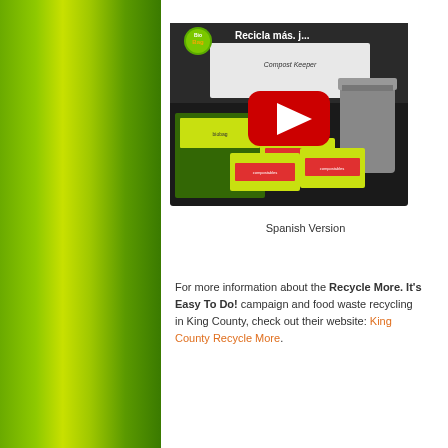[Figure (screenshot): YouTube video thumbnail showing BioBag Compost Keeper products with a red YouTube play button overlay. Title reads 'Recicla más. j...' with BioBag logo in upper left.]
Spanish Version
For more information about the Recycle More. It's Easy To Do! campaign and food waste recycling in King County, check out their website: King County Recycle More.